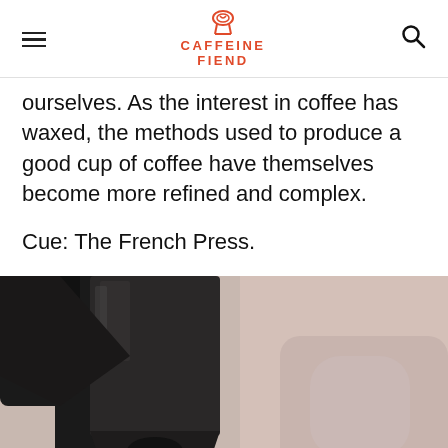CAFFEINE FIEND
ourselves. As the interest in coffee has waxed, the methods used to produce a good cup of coffee have themselves become more refined and complex.
Cue: The French Press.
[Figure (photo): Close-up photo of coffee being poured from a French press, showing dark golden-brown stream of coffee flowing downward against a light blurred background.]